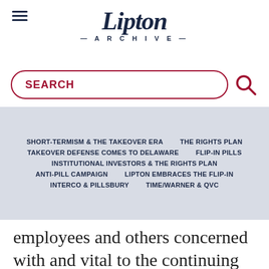[Figure (logo): Lipton Archive logo with script font and hamburger menu icon]
SEARCH
SHORT-TERMISM & THE TAKEOVER ERA | THE RIGHTS PLAN | TAKEOVER DEFENSE COMES TO DELAWARE | FLIP-IN PILLS | INSTITUTIONAL INVESTORS & THE RIGHTS PLAN | ANTI-PILL CAMPAIGN | LIPTON EMBRACES THE FLIP-IN | INTERCO & PILLSBURY | TIME/WARNER & QVC
employees and others concerned with and vital to the continuing successful operation of Household even in the absence of any actual bust-up takeover attempt.  Against this factual background, the Plan was